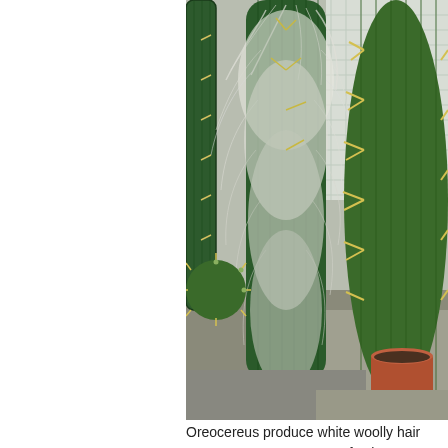[Figure (photo): Photograph of Oreocereus cacti with long white woolly hair covering the stems, growing in pots in a greenhouse setting. Multiple columnar cacti visible with distinctive white fibrous hair and yellow spines.]
Oreocereus produce white woolly hair
Oreocereus are a genus of columnar